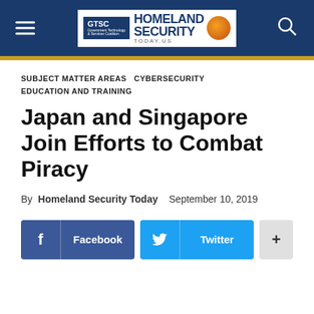GTSC Homeland Security Today
SUBJECT MATTER AREAS  CYBERSECURITY  EDUCATION AND TRAINING
Japan and Singapore Join Efforts to Combat Piracy
By Homeland Security Today  September 10, 2019
[Figure (infographic): Social share buttons: Facebook, Twitter, and a plus/more button]